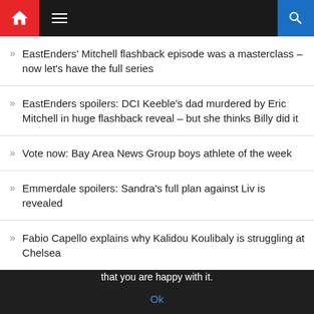Navigation bar with home icon, menu icon, and search icon
EastEnders' Mitchell flashback episode was a masterclass – now let's have the full series
EastEnders spoilers: DCI Keeble's dad murdered by Eric Mitchell in huge flashback reveal – but she thinks Billy did it
Vote now: Bay Area News Group boys athlete of the week
Emmerdale spoilers: Sandra's full plan against Liv is revealed
Fabio Capello explains why Kalidou Koulibaly is struggling at Chelsea
We use cookies to ensure that we give you the best experience on our website. If you continue to use this site we will assume that you are happy with it.
Ok